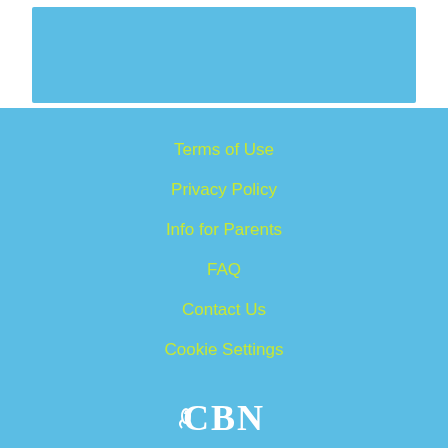[Figure (other): Top blue banner area on white background]
Terms of Use
Privacy Policy
Info for Parents
FAQ
Contact Us
Cookie Settings
[Figure (logo): CBN logo in white at bottom center]